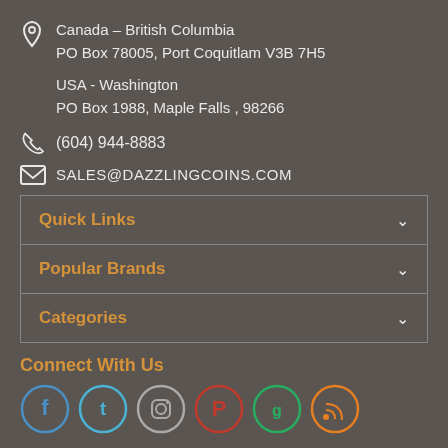Canada – British Columbia
PO Box 78005, Port Coquitlam V3B 7H5
USA - Washington
PO Box 1988, Maple Falls , 98266
(604) 944-8883
SALES@DAZZLINGCOINS.COM
Quick Links
Popular Brands
Categories
Connect With Us
[Figure (illustration): Social media icons: Facebook (blue circle), Twitter (blue circle), Instagram (gray circle), Pinterest (red circle), green circle, RSS (orange circle)]